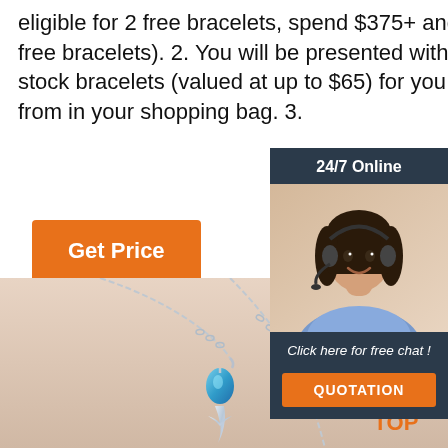eligible for 2 free bracelets, spend $375+ and receive 3 free bracelets). 2. You will be presented with eligible in-stock bracelets (valued at up to $65) for you to choose from in your shopping bag. 3.
[Figure (other): Orange 'Get Price' button]
[Figure (other): Chat widget with '24/7 Online' header, photo of a woman wearing headset, italic text 'Click here for free chat!', and orange QUOTATION button]
[Figure (photo): Silver necklace with blue gemstone pendant on blurred beige background]
[Figure (logo): Orange 'TOP' logo with dotted arch above text]